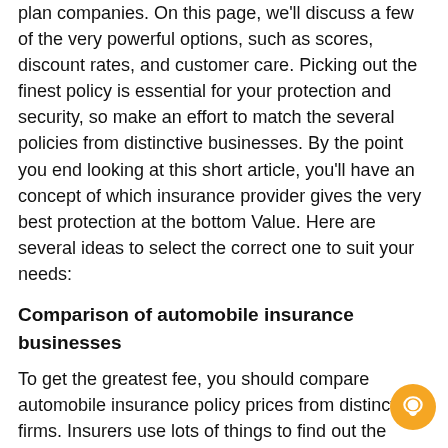plan companies. On this page, we'll discuss a few of the very powerful options, such as scores, discount rates, and customer care. Picking out the finest policy is essential for your protection and security, so make an effort to match the several policies from distinctive businesses. By the point you end looking at this short article, you'll have an concept of which insurance provider gives the very best protection at the bottom Value. Here are several ideas to select the correct one to suit your needs:
Comparison of automobile insurance businesses
To get the greatest fee, you should compare automobile insurance policy prices from distinctive firms. Insurers use lots of things to find out the price of insurance. You should discover your person needs and Look at rates from many companies. As an example, sports activities autos can cost much more to insure than typical cars and trucks. Additionally, your locality and driving historical past can also affect the rates you are quoted. Through the use of a